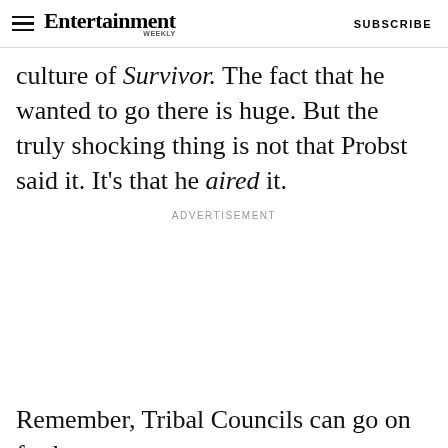Entertainment Weekly — SUBSCRIBE
culture of Survivor. The fact that he wanted to go there is huge. But the truly shocking thing is not that Probst said it. It's that he aired it.
ADVERTISEMENT
Remember, Tribal Councils can go on for hours